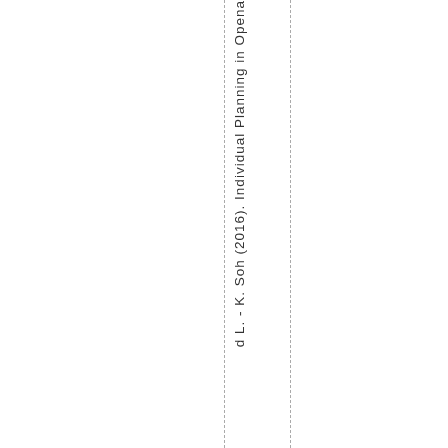d L. - K. Soh (2016). Individual Planning in Opena